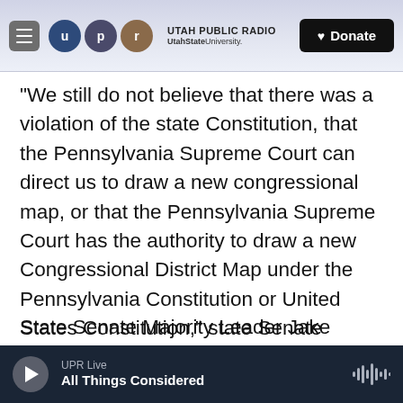UTAH PUBLIC RADIO — UtahStateUniversity. Donate
"We still do not believe that there was a violation of the state Constitution, that the Pennsylvania Supreme Court can direct us to draw a new congressional map, or that the Pennsylvania Supreme Court has the authority to draw a new Congressional District Map under the Pennsylvania Constitution or United States Constitution," state Senate President Pro Tempore Joe Scarnati said in a statement.
State Senate Majority Leader Jake Corman conceded the 2011 maps were drawn with politics
UPR Live — All Things Considered